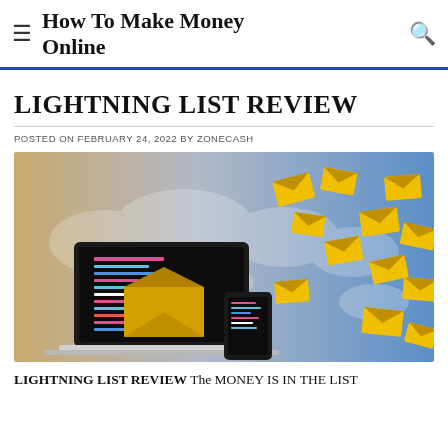How To Make Money Online
LIGHTNING LIST REVIEW
POSTED ON FEBRUARY 24, 2022 BY ZONECASH
[Figure (illustration): Illustration showing a laptop and smartphone with code on screens, a large open golden envelope, and many golden envelopes flying across a world map background with gradient from tan/orange on left to blue on right.]
LIGHTNING LIST REVIEW The MONEY IS IN THE LIST